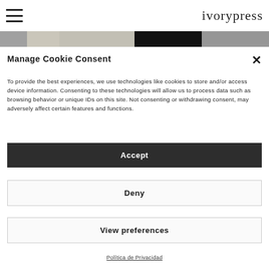ivorypress
[Figure (photo): Partial view of a hero/banner image strip with grayscale tones, partially obscured by cookie consent modal]
Manage Cookie Consent
To provide the best experiences, we use technologies like cookies to store and/or access device information. Consenting to these technologies will allow us to process data such as browsing behavior or unique IDs on this site. Not consenting or withdrawing consent, may adversely affect certain features and functions.
Accept
Deny
View preferences
Política de Privacidad